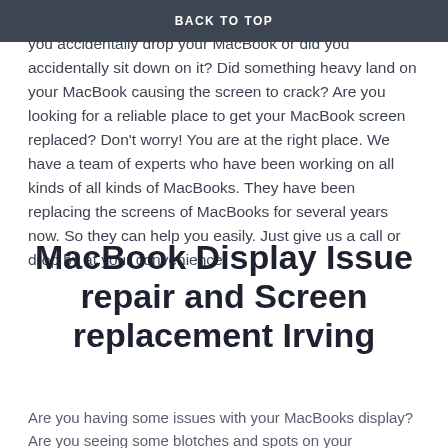BACK TO TOP
Did you accidentally crack your MacBooks screen? Did you accidentally drop your MacBook or did you accidentally sit down on it? Did something heavy land on your MacBook causing the screen to crack? Are you looking for a reliable place to get your MacBook screen replaced? Don't worry! You are at the right place. We have a team of experts who have been working on all kinds of all kinds of MacBooks. They have been replacing the screens of MacBooks for several years now. So they can help you easily. Just give us a call or drop by at your convenience.
MacBook Display Issue repair and Screen replacement Irving
Are you having some issues with your MacBooks display? Are you seeing some blotches and spots on your